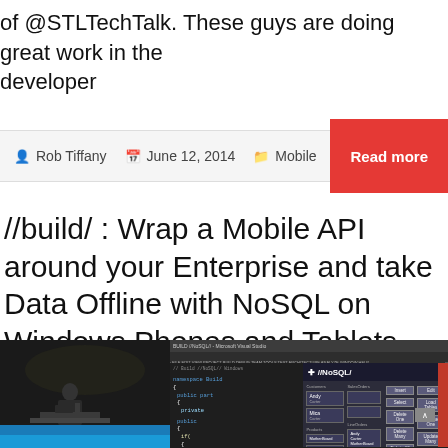of @STLTechTalk. These guys are doing great work in the developer
Rob Tiffany   June 12, 2014   Mobile
//build/ : Wrap a Mobile API around your Enterprise and take Data Offline with NoSQL on Windows Phones and Tablets
[Figure (screenshot): Screenshot showing a Microsoft Build conference presentation with a speaker on the left against a blue background, and a Visual Studio IDE window with NoSQL code on the right, featuring a NoSQL interface with customer/order data tables and CRUD operation buttons.]